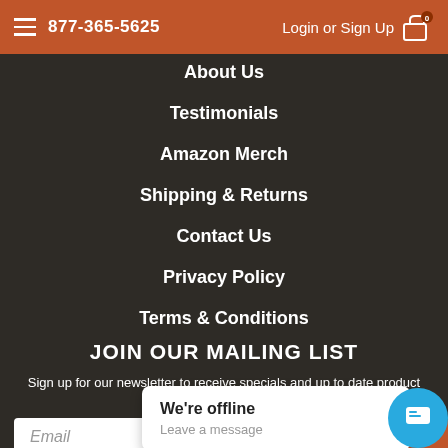877-365-5625  Login or Sign Up  0
About Us
Testimonials
Amazon Merch
Shipping & Returns
Contact Us
Privacy Policy
Terms & Conditions
JOIN OUR MAILING LIST
Sign up for our newsletter to receive specials and up to date product news and releases.
Email
We're offline
Leave a message